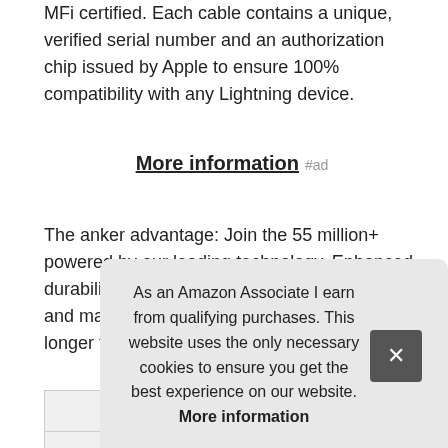MFi certified. Each cable contains a unique, verified serial number and an authorization chip issued by Apple to ensure 100% compatibility with any Lightning device.
More information #ad
The anker advantage: Join the 55 million+ powered by our leading technology. Enhanced durability: improved construction techniques and materials make a cable that lasts 5X longer than the norm.
| Brand | Anker #ad |
| Manufacturer | anker #ad |
As an Amazon Associate I earn from qualifying purchases. This website uses the only necessary cookies to ensure you get the best experience on our website. More information